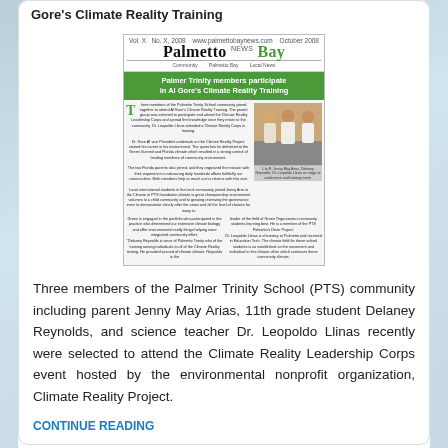Gore's Climate Reality Training
[Figure (photo): Palmetto Bay News newspaper front page showing article 'Palmer Trinity members participate in Al Gore's Climate Reality Training' with a green banner headline and a photo of three people]
Three members of the Palmer Trinity School (PTS) community including parent Jenny May Arias, 11th grade student Delaney Reynolds, and science teacher Dr. Leopoldo Llinas recently were selected to attend the Climate Reality Leadership Corps event hosted by the environmental nonprofit organization, Climate Reality Project.
CONTINUE READING